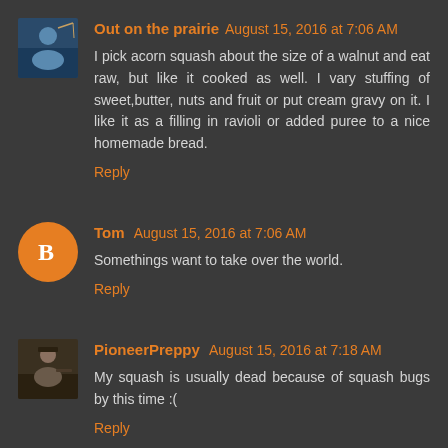Out on the prairie August 15, 2016 at 7:06 AM
I pick acorn squash about the size of a walnut and eat raw, but like it cooked as well. I vary stuffing of sweet,butter, nuts and fruit or put cream gravy on it. I like it as a filling in ravioli or added puree to a nice homemade bread.
Reply
Tom August 15, 2016 at 7:06 AM
Somethings want to take over the world.
Reply
PioneerPreppy August 15, 2016 at 7:18 AM
My squash is usually dead because of squash bugs by this time :(
Reply